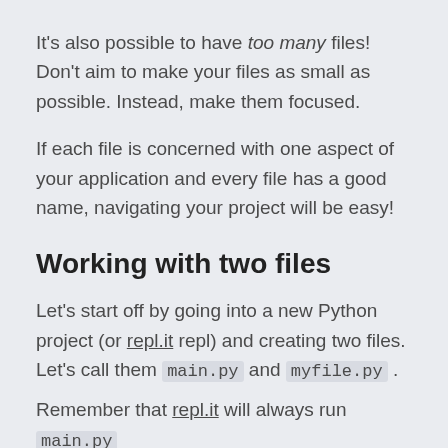It's also possible to have too many files! Don't aim to make your files as small as possible. Instead, make them focused.
If each file is concerned with one aspect of your application and every file has a good name, navigating your project will be easy!
Working with two files
Let's start off by going into a new Python project (or repl.it repl) and creating two files. Let's call them main.py and myfile.py .
Remember that repl.it will always run main.py